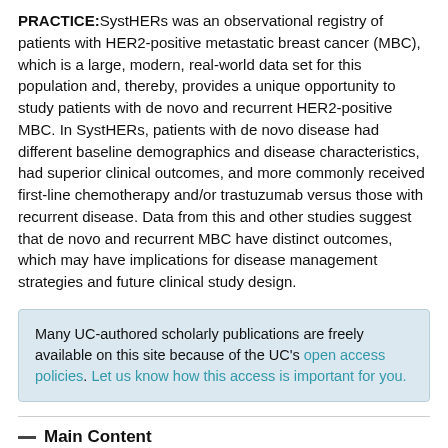PRACTICE:SystHERs was an observational registry of patients with HER2-positive metastatic breast cancer (MBC), which is a large, modern, real-world data set for this population and, thereby, provides a unique opportunity to study patients with de novo and recurrent HER2-positive MBC. In SystHERs, patients with de novo disease had different baseline demographics and disease characteristics, had superior clinical outcomes, and more commonly received first-line chemotherapy and/or trastuzumab versus those with recurrent disease. Data from this and other studies suggest that de novo and recurrent MBC have distinct outcomes, which may have implications for disease management strategies and future clinical study design.
Many UC-authored scholarly publications are freely available on this site because of the UC's open access policies. Let us know how this access is important for you.
Main Content
[Figure (other): Download PDF to View button in teal/green color]